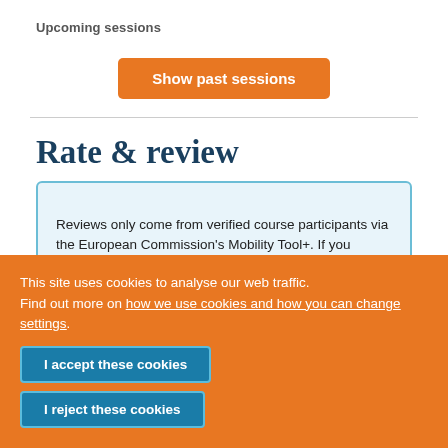Upcoming sessions
Show past sessions
Rate & review
Reviews only come from verified course participants via the European Commission's Mobility Tool+. If you participated in this course, use the Mobility Tool+ to submit a review. If the
This site uses cookies to analyse our web traffic. Find out more on how we use cookies and how you can change settings.
I accept these cookies
I reject these cookies